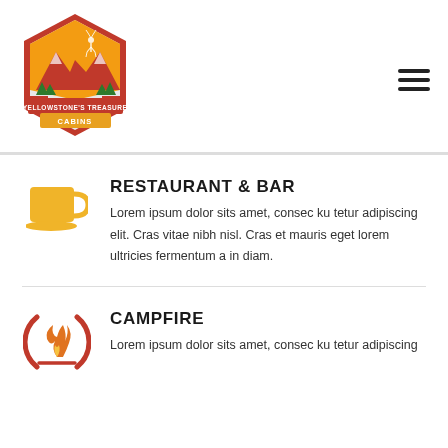[Figure (logo): Yellowstone's Treasure Cabins logo — hexagonal badge with mountains, deer, trees, in red/orange/gold with text 'YELLOWSTONE'S TREASURE CABINS']
RESTAURANT & BAR
Lorem ipsum dolor sits amet, consec ku tetur adipiscing elit. Cras vitae nibh nisl. Cras et mauris eget lorem ultricies fermentum a in diam.
CAMPFIRE
Lorem ipsum dolor sits amet, consec ku tetur adipiscing